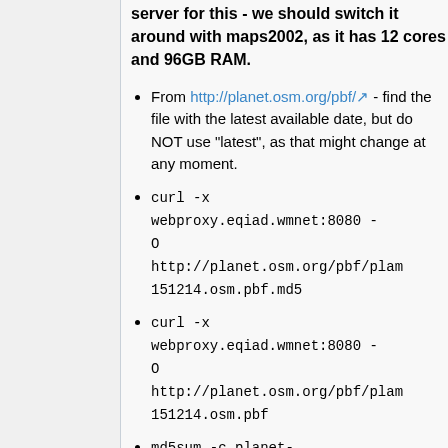server for this - we should switch it around with maps2002, as it has 12 cores and 96GB RAM.
From http://planet.osm.org/pbf/ - find the file with the latest available date, but do NOT use "latest", as that might change at any moment.
curl -x webproxy.eqiad.wmnet:8080 -O http://planet.osm.org/pbf/plan 151214.osm.pbf.md5
curl -x webproxy.eqiad.wmnet:8080 -O http://planet.osm.org/pbf/plan 151214.osm.pbf
md5sum -c planet-151214.osm.pbf.md5